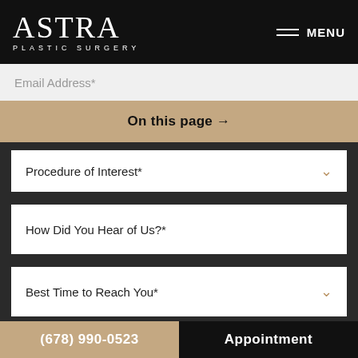ASTRA PLASTIC SURGERY
Email Address*
On this page →
Procedure of Interest*
How Did You Hear of Us?*
Best Time to Reach You*
How can we assist your aesthetic needs?
(678) 990-0523 | Appointment